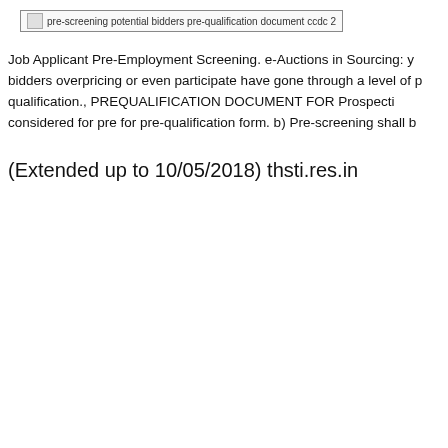[Figure (other): Broken image placeholder with alt text: pre-screening potential bidders pre-qualification document ccdc 2]
Job Applicant Pre-Employment Screening. e-Auctions in Sourcing: y bidders overpricing or even participate have gone through a level of p qualification., PREQUALIFICATION DOCUMENT FOR Prospecti considered for pre for pre-qualification form. b) Pre-screening shall b
(Extended up to 10/05/2018) thsti.res.in